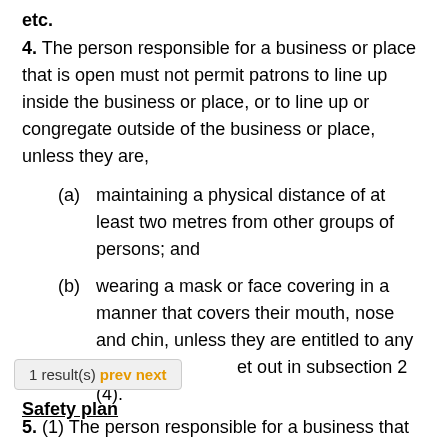etc.
4. The person responsible for a business or place that is open must not permit patrons to line up inside the business or place, or to line up or congregate outside of the business or place, unless they are,
(a) maintaining a physical distance of at least two metres from other groups of persons; and
(b) wearing a mask or face covering in a manner that covers their mouth, nose and chin, unless they are entitled to any of the [exceptions] set out in subsection 2 (4).
Safety plan
5. (1) The person responsible for a business that